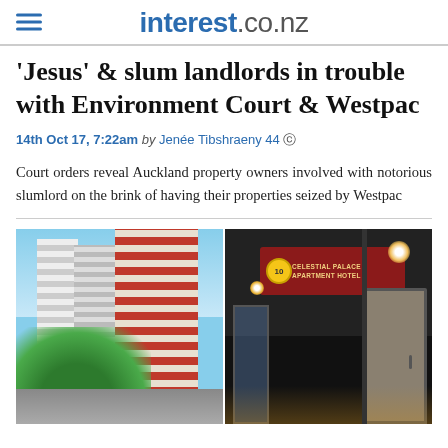interest.co.nz
'Jesus' & slum landlords in trouble with Environment Court & Westpac
14th Oct 17, 7:22am by Jenée Tibshraeny 44
Court orders reveal Auckland property owners involved with notorious slumlord on the brink of having their properties seized by Westpac
[Figure (photo): Two photos side by side: left shows a tall residential apartment building with red and grey facade next to green trees under a blue sky; right shows the entrance to Celestial Palace Apartment Hotel at night with dark interior lighting and a yellow circular logo sign.]